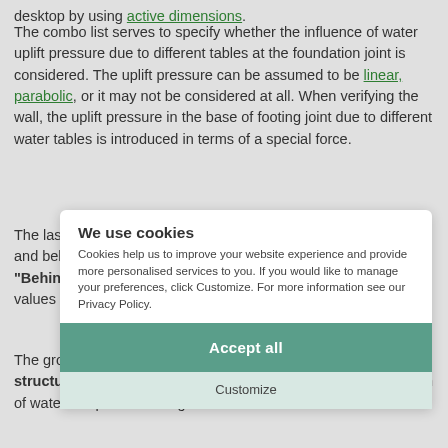desktop by using active dimensions.
The combo list serves to specify whether the influence of water uplift pressure due to different tables at the foundation joint is considered. The uplift pressure can be assumed to be linear, parabolic, or it may not be considered at all. When verifying the wall, the uplift pressure in the base of footing joint due to different water tables is introduced in terms of a special force.
The last option is a manual input of pore pressure both in front and behind the structure. Two tabs, "In front of structure" and "Behind structure", appear with tables. The table contains the values of pore pressure in front of the structure or behind it.
The groundwater table can also be specified above the structure or earth profile, respectively - in such a case, the depth of water is input with a negative value.
We use cookies
Cookies help us to improve your website experience and provide more personalised services to you. If you would like to manage your preferences, click Customize. For more information see our Privacy Policy.
Accept all
Customize